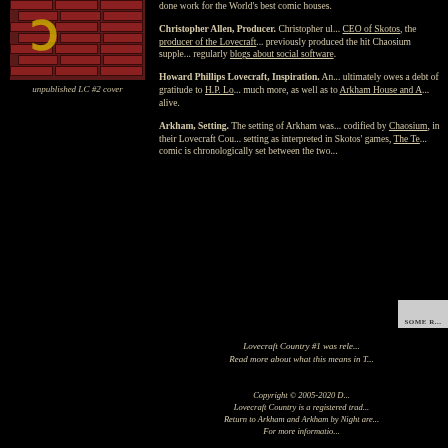[Figure (illustration): Unpublished LC #2 cover showing brick wall with yellow character/logo]
unpublished LC #2 cover
done work for the World's best comic houses.
Christopher Allen, Producer. Christopher ul... CEO of Skotos, the producer of the Lovecraft... previously produced the hit Chaosium supple... regularly blogs about social software.
Howard Phillips Lovecraft, Inspiration. An... ultimately owes a debt of gratitude to H.P. Lo... much more, as well as to Arkham House and A... alive.
Arkham, Setting. The setting of Arkham was... codified by Chaosium, in their Lovecraft Cou... setting as interpreted in Skotos' games, The Te... comic is chronologically set between the two...
[Figure (other): Rating box with text SOME R...]
Lovecraft Country #1 was rele... Read more about what this means in T...
Copyright © 2005-2020 D... Lovecraft Country is a registered trad... Return to Arkham and Arkham by Night are... For more informatio...